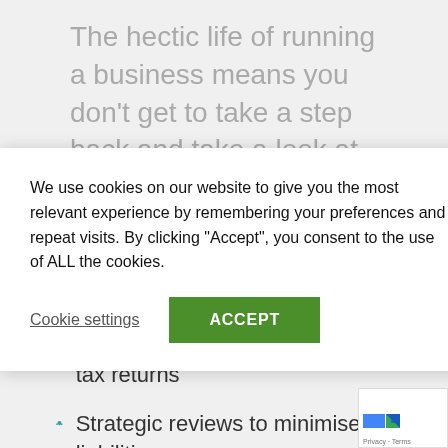The hectic life of running a business means you don’t get to take a step back and take a look at your business tax planning. At Tax Agility, our
We use cookies on our website to give you the most relevant experience by remembering your preferences and repeat visits. By clicking “Accept”, you consent to the use of ALL the cookies.
Cookie settings
ACCEPT
Preparation of self-assessment tax returns
Strategic reviews to minimise tax liabilities
Dispute settlement negotiations